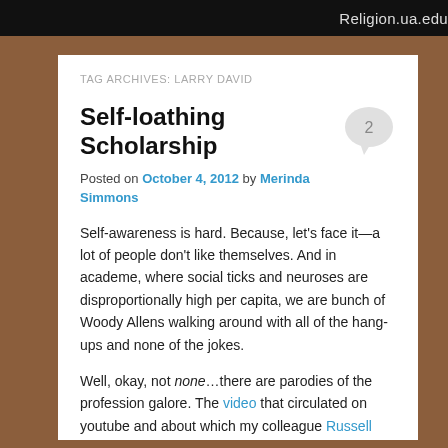Religion.ua.edu
TAG ARCHIVES: LARRY DAVID
Self-loathing Scholarship
Posted on October 4, 2012 by Merinda Simmons
Self-awareness is hard. Because, let's face it—a lot of people don't like themselves. And in academe, where social ticks and neuroses are disproportionally high per capita, we are bunch of Woody Allens walking around with all of the hang-ups and none of the jokes.
Well, okay, not none…there are parodies of the profession galore. The video that circulated on youtube and about which my colleague Russell McCutcheon recently posted on this very blog comes to mind.  It made my academic friends and me roar—a student asks her professor for a